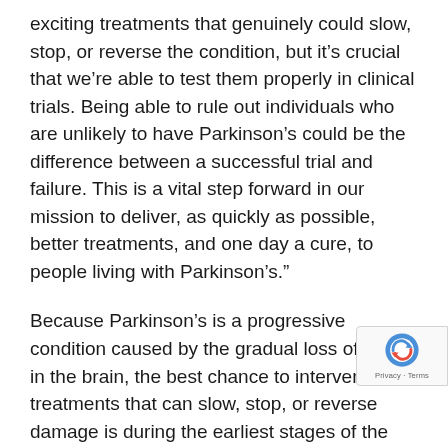exciting treatments that genuinely could slow, stop, or reverse the condition, but it’s crucial that we’re able to test them properly in clinical trials. Being able to rule out individuals who are unlikely to have Parkinson’s could be the difference between a successful trial and failure. This is a vital step forward in our mission to deliver, as quickly as possible, better treatments, and one day a cure, to people living with Parkinson’s.”
Because Parkinson’s is a progressive condition caused by the gradual loss of cells in the brain, the best chance to intervene with treatments that can slow, stop, or reverse damage is during the earliest stages of the condition. During these early stages, however, signs, and symptoms tend to be mild, which makes selecting the right people to participate in trials very difficult.
“The use of these brain scans is already being included in new